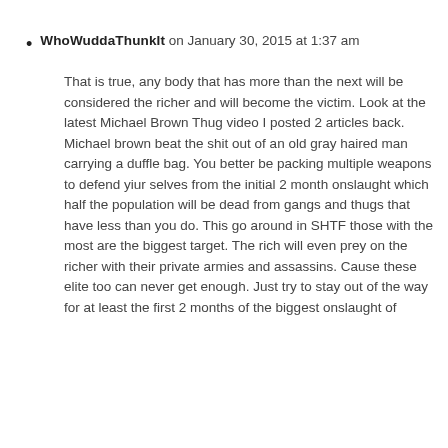WhoWuddaThunkIt on January 30, 2015 at 1:37 am
That is true, any body that has more than the next will be considered the richer and will become the victim. Look at the latest Michael Brown Thug video I posted 2 articles back. Michael brown beat the shit out of an old gray haired man carrying a duffle bag. You better be packing multiple weapons to defend yiur selves from the initial 2 month onslaught which half the population will be dead from gangs and thugs that have less than you do. This go around in SHTF those with the most are the biggest target. The rich will even prey on the richer with their private armies and assassins. Cause these elite too can never get enough. Just try to stay out of the way for at least the first 2 months of the biggest onslaught of